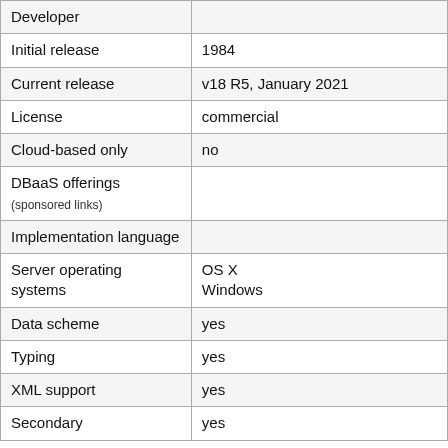| Developer |  |
| Initial release | 1984 |
| Current release | v18 R5, January 2021 |
| License | commercial |
| Cloud-based only | no |
| DBaaS offerings
(sponsored links) |  |
| Implementation language |  |
| Server operating systems | OS X
Windows |
| Data scheme | yes |
| Typing | yes |
| XML support | yes |
| Secondary | yes |